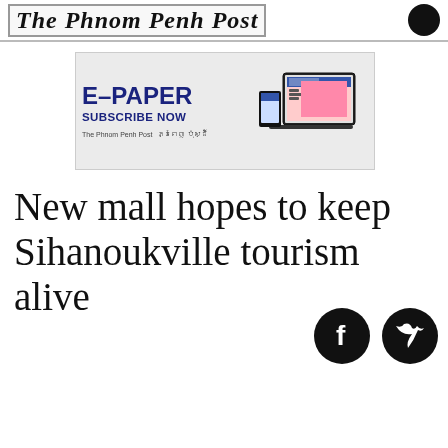The Phnom Penh Post
[Figure (infographic): E-PAPER SUBSCRIBE NOW advertisement banner for The Phnom Penh Post showing laptop and mobile device with newspaper content]
New mall hopes to keep Sihanoukville tourism alive
[Figure (illustration): Facebook and Twitter social media icons (black circles with white logos)]